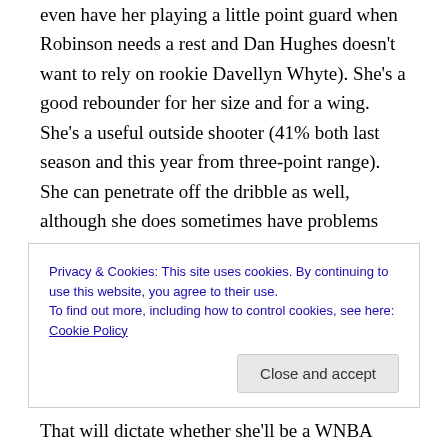even have her playing a little point guard when Robinson needs a rest and Dan Hughes doesn't want to rely on rookie Davellyn Whyte). She's a good rebounder for her size and for a wing. She's a useful outside shooter (41% both last season and this year from three-point range). She can penetrate off the dribble as well, although she does sometimes have problems finishing at the rim. She's actually always reminded me a little of someone now sitting on the San Antonio sidelines, Vicky Johnson, who did a bit of everything from a similar spot for the Liberty and Silver
Privacy & Cookies: This site uses cookies. By continuing to use this website, you agree to their use.
To find out more, including how to control cookies, see here: Cookie Policy
That will dictate whether she'll be a WNBA player fans